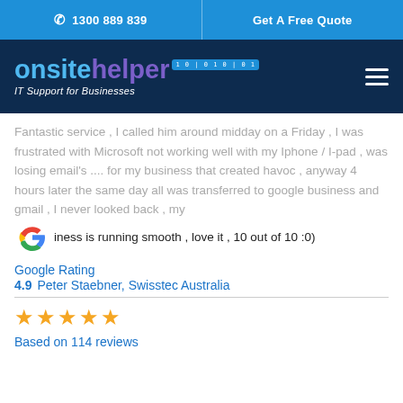1300 889 839 | Get A Free Quote
[Figure (logo): Onsite Helper logo with binary badge and tagline 'IT Support for Businesses']
Fantastic service , I called him around midday on a Friday , I was frustrated with Microsoft not working well with my Iphone / I-pad , was losing email's .... for my business that created havoc , anyway 4 hours later the same day all was transferred to google business and gmail , I never looked back , my business is running smooth , love it , 10 out of 10 :0)
Google Rating
4.9   Peter Staebner, Swisstec Australia
★★★★★
Based on 114 reviews